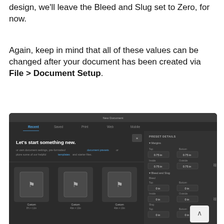design, we'll leave the Bleed and Slug set to Zero, for now.
Again, keep in mind that all of these values can be changed after your document has been created via File > Document Setup.
[Figure (screenshot): Screenshot of Adobe InDesign New Document dialog showing Margins set to 0.75 in on all sides and Bleed and Slug set to 0 in on all sides, with template thumbnails visible on the left panel.]